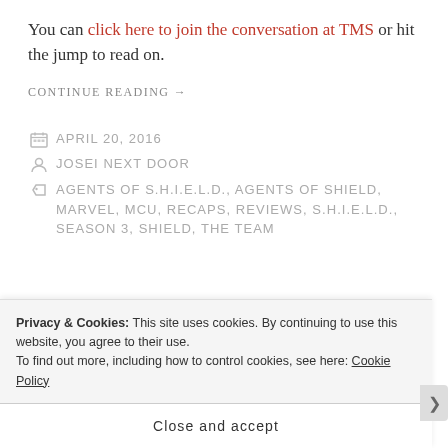You can click here to join the conversation at TMS or hit the jump to read on.
CONTINUE READING →
APRIL 20, 2016
JOSEI NEXT DOOR
AGENTS OF S.H.I.E.L.D., AGENTS OF SHIELD, MARVEL, MCU, RECAPS, REVIEWS, S.H.I.E.L.D., SEASON 3, SHIELD, THE TEAM
Privacy & Cookies: This site uses cookies. By continuing to use this website, you agree to their use. To find out more, including how to control cookies, see here: Cookie Policy
Close and accept